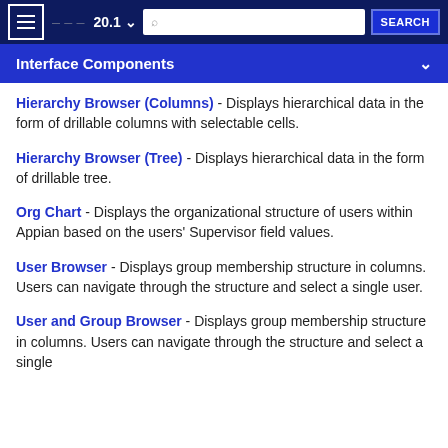20.1 | SEARCH
Interface Components
Hierarchy Browser (Columns) - Displays hierarchical data in the form of drillable columns with selectable cells.
Hierarchy Browser (Tree) - Displays hierarchical data in the form of drillable tree.
Org Chart - Displays the organizational structure of users within Appian based on the users' Supervisor field values.
User Browser - Displays group membership structure in columns. Users can navigate through the structure and select a single user.
User and Group Browser - Displays group membership structure in columns. Users can navigate through the structure and select a single